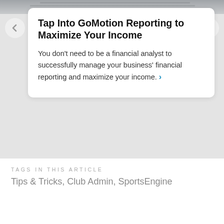[Figure (photo): Top image strip showing financial/calculator imagery, partially visible]
Tap Into GoMotion Reporting to Maximize Your Income
You don't need to be a financial analyst to successfully manage your business' financial reporting and maximize your income. ›
View more ›
TAGS IN THIS ARTICLE
Tips & Tricks, Club Admin, SportsEngine